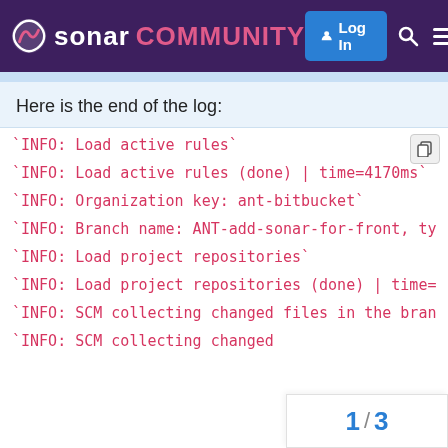sonar COMMUNITY  Log In
Here is the end of the log:
`INFO: Load active rules`
`INFO: Load active rules (done) | time=4170ms`
`INFO: Organization key: ant-bitbucket`
`INFO: Branch name: ANT-add-sonar-for-front, ty`
`INFO: Load project repositories`
`INFO: Load project repositories (done) | time=`
`INFO: SCM collecting changed files in the bran`
`INFO: SCM collecting changed `
1 / 3